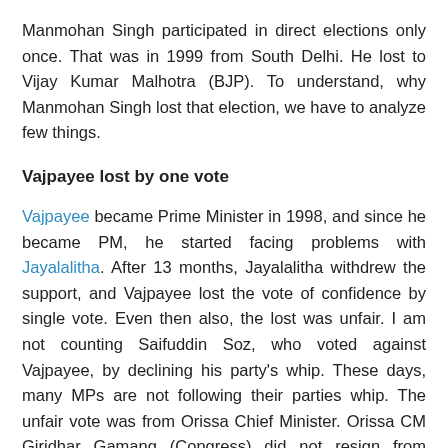Manmohan Singh participated in direct elections only once. That was in 1999 from South Delhi. He lost to Vijay Kumar Malhotra (BJP). To understand, why Manmohan Singh lost that election, we have to analyze few things.
Vajpayee lost by one vote
Vajpayee became Prime Minister in 1998, and since he became PM, he started facing problems with Jayalalitha. After 13 months, Jayalalitha withdrew the support, and Vajpayee lost the vote of confidence by single vote. Even then also, the lost was unfair. I am not counting Saifuddin Soz, who voted against Vajpayee, by declining his party's whip. These days, many MPs are not following their parties whip. The unfair vote was from Orissa Chief Minister. Orissa CM Giridhar Gamang (Congress) did not resign from Loksabha eventhough he had been in CM position for few months. He voted against Vajpayee government. Had he not voted in that, both sides would have got equal votes, and Speaker would have supported the government (Because speaker was from TDP, which was supporting Vajpayee government). But, because of this invalid vote, he lost it.